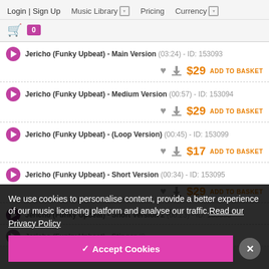Login | Sign Up  Music Library  Pricing  Currency
Jericho (Funky Upbeat) - Main Version (03:24) - ID: 153093  $29 ADD TO BASKET
Jericho (Funky Upbeat) - Medium Version (00:57) - ID: 153094  $29 ADD TO BASKET
Jericho (Funky Upbeat) - (Loop Version) (00:45) - ID: 153099  $17 ADD TO BASKET
Jericho (Funky Upbeat) - Short Version (00:34) - ID: 153095  $29 ADD TO BASKET
Jericho (Funky Upbeat) - Short Version 2 (00:23) - ID: 153096  $29 ADD TO BASKET
Jericho (Funky Upbeat) - Stinger ...
We use cookies to personalise content, provide a better experience of our music licensing platform and analyse our traffic.Read our Privacy Policy
✓ Accept Cookies